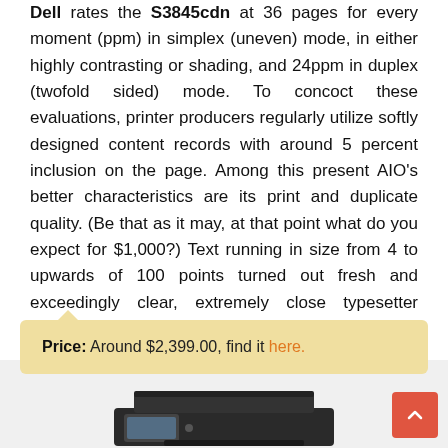Dell rates the S3845cdn at 36 pages for every moment (ppm) in simplex (uneven) mode, in either highly contrasting or shading, and 24ppm in duplex (twofold sided) mode. To concoct these evaluations, printer producers regularly utilize softly designed content records with around 5 percent inclusion on the page. Among this present AIO's better characteristics are its print and duplicate quality. (Be that as it may, at that point what do you expect for $1,000?) Text running in size from 4 to upwards of 100 points turned out fresh and exceedingly clear, extremely close typesetter quality. It prints generally quick and well.
Price: Around $2,399.00, find it here.
[Figure (photo): Photo of a dark gray/black multifunction printer (Dell S3845cdn) viewed from the front-left angle, showing a touchscreen display panel and paper tray.]